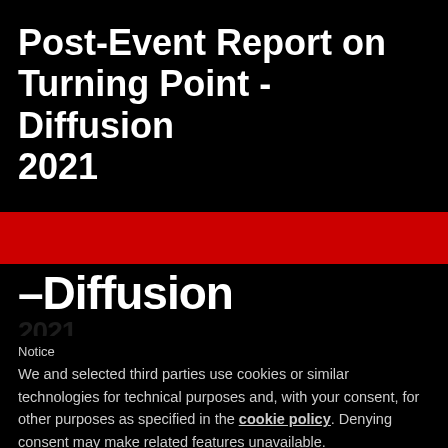Post-Event Report on Turning Point - Diffusion 2021
–Diffusion
Notice
We and selected third parties use cookies or similar technologies for technical purposes and, with your consent, for other purposes as specified in the cookie policy. Denying consent may make related features unavailable.